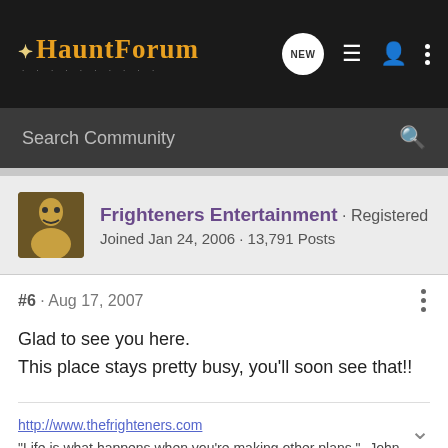HauntForum — NEW, list, user, menu icons
Search Community
Frighteners Entertainment · Registered
Joined Jan 24, 2006 · 13,791 Posts
#6 · Aug 17, 2007
Glad to see you here.
This place stays pretty busy, you'll soon see that!!
http://www.thefrighteners.com
"Life is what happens when you're making other plans." -John